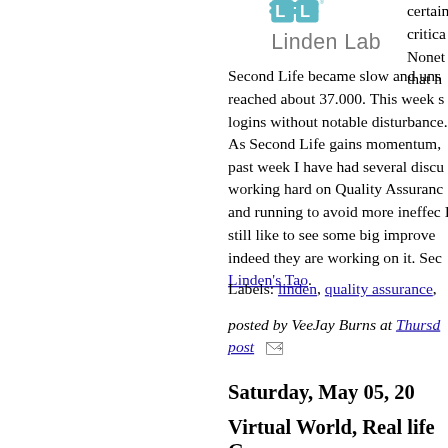[Figure (logo): Linden Lab logo with stylized 'LL' graphic above text 'Linden Lab']
Second Life became slow and uns reached about 37.000. This week s logins without notable disturbance. As Second Life gains momentum, past week I have had several discu working hard on Quality Assuranc and running to avoid more ineffec I still like to see some big improve indeed they are working on it. Sec Linden's Tao.
Labels: linden, quality assurance,
posted by VeeJay Burns at Thursd post
Saturday, May 05, 20
Virtual World, Real life Go